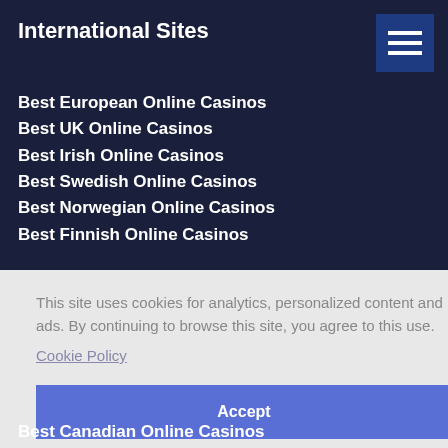International Sites
Best European Online Casinos
Best UK Online Casinos
Best Irish Online Casinos
Best Swedish Online Casinos
Best Norwegian Online Casinos
Best Finnish Online Casinos
This site uses cookies for analytics, personalized content and ads. By continuing to browse this site, you agree to this use.
Cookie Policy
Accept
Best Canadian Online Casinos